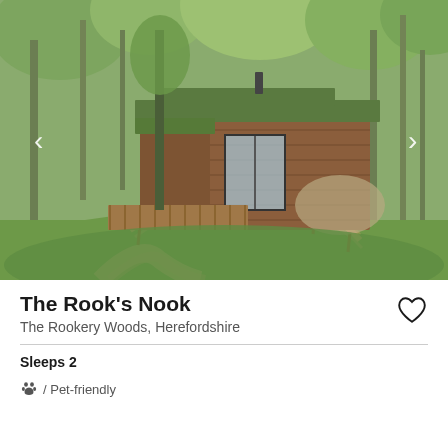[Figure (photo): Aerial drone photograph of a wooden cabin with green roof set in woodland. The cabin has a deck/verandah, large glass doors, and is surrounded by a woven willow fence. A gravel path leads to the cabin. Trees surround the property.]
The Rook's Nook
The Rookery Woods, Herefordshire
Sleeps 2
/ Pet-friendly